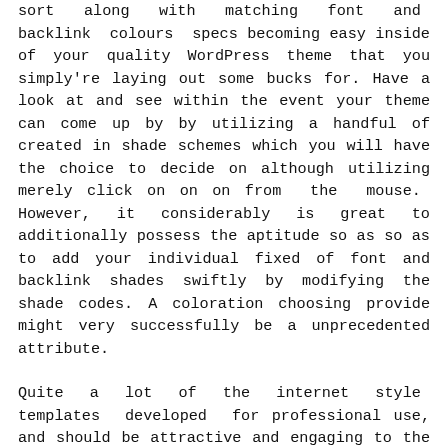sort along with matching font and backlink colours specs becoming easy inside of your quality WordPress theme that you simply're laying out some bucks for. Have a look at and see within the event your theme can come up by by utilizing a handful of created in shade schemes which you will have the choice to decide on although utilizing merely click on on on from the mouse. However, it considerably is great to additionally possess the aptitude so as so as to add your individual fixed of font and backlink shades swiftly by modifying the shade codes. A coloration choosing provide might very successfully be a unprecedented attribute.
Quite a lot of the internet style templates developed for professional use, and should be attractive and engaging to the visitors of the web page. The web design should be superb, spectacular and ready to use. A beautiful internet design will little doubt make an eye catching webpage that will just about